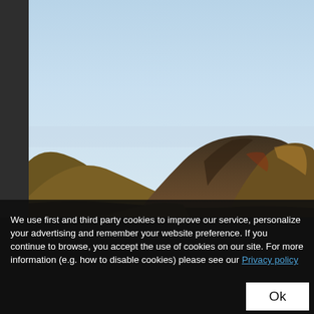[Figure (photo): Landscape photograph of arid mountain ridges under a clear pale blue sky. The mountains are brown and ochre colored with dramatic rocky slopes. The sky is light blue fading to pale near the horizon. A dark grey left margin bar is visible on the left edge.]
We use first and third party cookies to improve our service, personalize your advertising and remember your website preference. If you continue to browse, you accept the use of cookies on our site. For more information (e.g. how to disable cookies) please see our Privacy policy